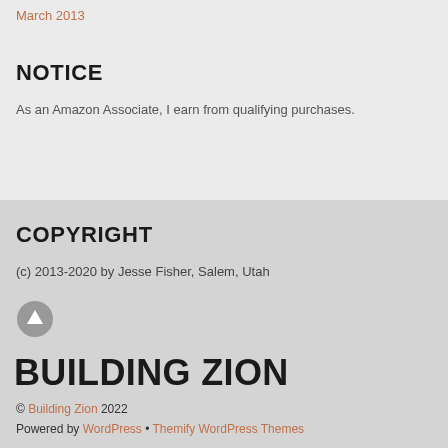March 2013
NOTICE
As an Amazon Associate, I earn from qualifying purchases.
COPYRIGHT
(c) 2013-2020 by Jesse Fisher, Salem, Utah
[Figure (other): Circular arrow up button icon]
BUILDING ZION
© Building Zion 2022
Powered by WordPress • Themify WordPress Themes